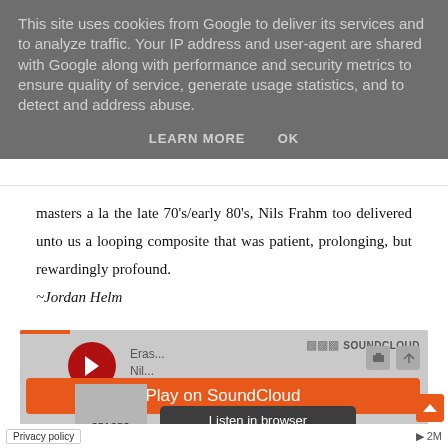This site uses cookies from Google to deliver its services and to analyze traffic. Your IP address and user-agent are shared with Google along with performance and security metrics to ensure quality of service, generate usage statistics, and to detect and address abuse.
LEARN MORE   OK
masters a la the late 70's/early 80's, Nils Frahm too delivered unto us a looping composite that was patient, prolonging, but rewardingly profound.
~Jordan Helm
[Figure (screenshot): SoundCloud embedded player showing 'Eras... Nil...' track with play button, 'Play on SoundCloud' orange button, 'Listen in browser' dark button, SPACES album art thumbnail, and 2M play count.]
Privacy policy   ▶ 2M